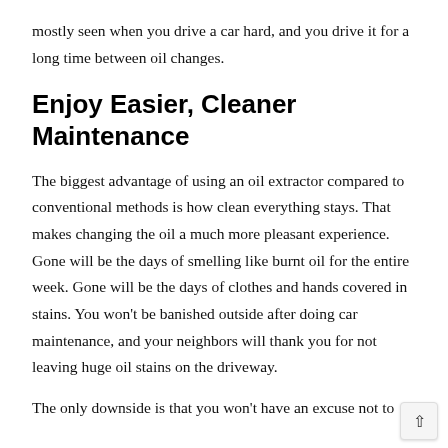mostly seen when you drive a car hard, and you drive it for a long time between oil changes.
Enjoy Easier, Cleaner Maintenance
The biggest advantage of using an oil extractor compared to conventional methods is how clean everything stays. That makes changing the oil a much more pleasant experience. Gone will be the days of smelling like burnt oil for the entire week. Gone will be the days of clothes and hands covered in stains. You won't be banished outside after doing car maintenance, and your neighbors will thank you for not leaving huge oil stains on the driveway.
The only downside is that you won't have an excuse not to